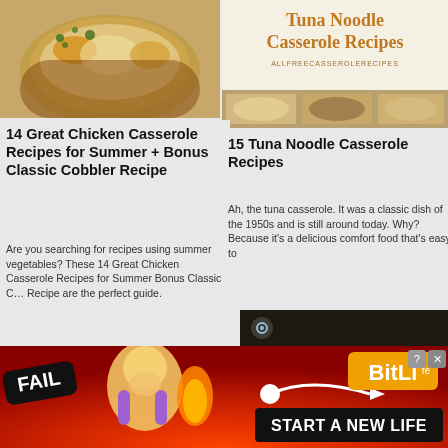[Figure (photo): Photo of chicken casserole in a bowl with melted cheese and herbs, top-left]
14 Great Chicken Casserole Recipes for Summer + Bonus Classic Cobbler Recipe
Are you searching for recipes using summer vegetables? These 14 Great Chicken Casserole Recipes for Summer Bonus Classic Cobbler Recipe are the perfect guide.
[Figure (photo): Tuna Noodle Casserole Recipes book cover with orange text on light background and food photo, top-right]
15 Tuna Noodle Casserole Recipes
Ah, the tuna casserole. It was a classic dish of the 1950s and is still around today. Why? Because it's a delicious comfort food that's easy to
[Figure (screenshot): Video overlay showing cheesy tater tot casserole with play button and mute icon]
[Figure (photo): Ground Beef Casserole Recipes section partially visible at bottom right]
[Figure (advertisement): BitLife game ad with FAIL text, cartoon woman facepalming, flames, and START A NEW LIFE tagline]